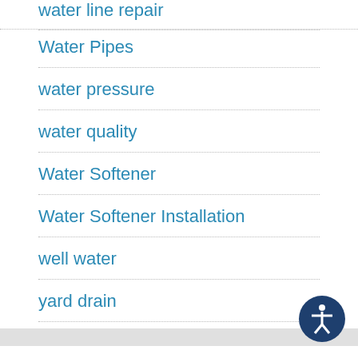water line repair
Water Pipes
water pressure
water quality
Water Softener
Water Softener Installation
well water
yard drain
ARCHIVES
Select Month